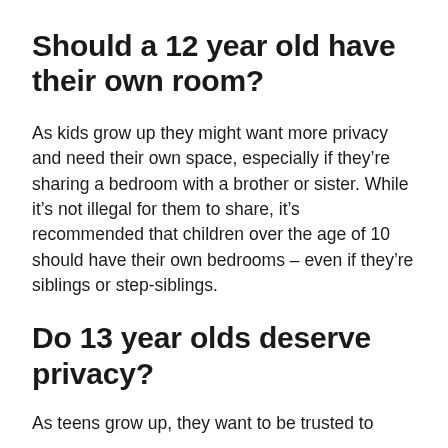Should a 12 year old have their own room?
As kids grow up they might want more privacy and need their own space, especially if they’re sharing a bedroom with a brother or sister. While it’s not illegal for them to share, it’s recommended that children over the age of 10 should have their own bedrooms – even if they’re siblings or step-siblings.
Do 13 year olds deserve privacy?
As teens grow up, they want to be trusted to